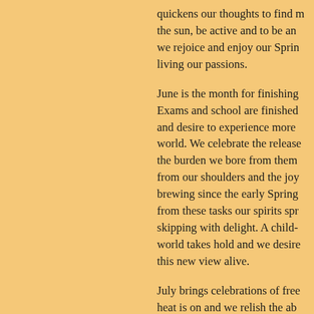quickens our thoughts to find more in the sun, be active and to be and as we rejoice and enjoy our Spring by living our passions.

June is the month for finishing up. Exams and school are finished and desire to experience more of our world. We celebrate the release of the burden we bore from them lifting from our shoulders and the joy that brewing since the early Spring. Free from these tasks our spirits spring up, skipping with delight. A child-like world takes hold and we desire to keep this new view alive.

July brings celebrations of freedom. The heat is on and we relish the abundance that is offered. The chill of past are distant memories as must the burdens just finished enduring. We seek to dream and float away on soft, white, ... desire to see more, do more, and ourselves are now more than w...